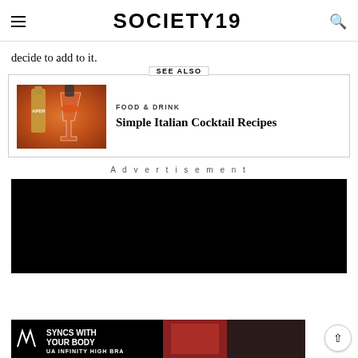SOCIETY19
decide to add to it.
SEE ALSO
[Figure (photo): Aperol Spritz being poured into a wine glass with orange liquid]
FOOD & DRINK
Simple Italian Cocktail Recipes
Advertisement
[Figure (photo): Black advertisement block]
[Figure (photo): Under Armour advertisement - SYNCS WITH YOUR BODY UA INFINITY HIGH BRA with woman lifting weights]